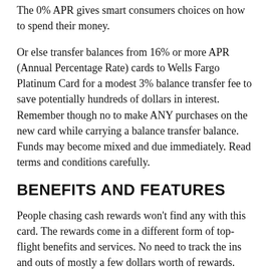The 0% APR gives smart consumers choices on how to spend their money.
Or else transfer balances from 16% or more APR (Annual Percentage Rate) cards to Wells Fargo Platinum Card for a modest 3% balance transfer fee to save potentially hundreds of dollars in interest. Remember though no to make ANY purchases on the new card while carrying a balance transfer balance. Funds may become mixed and due immediately. Read terms and conditions carefully.
BENEFITS AND FEATURES
People chasing cash rewards won't find any with this card. The rewards come in a different form of top-flight benefits and services. No need to track the ins and outs of mostly a few dollars worth of rewards. The Wells Fargo Platinum Card keeps life simple with important features that safeguard spending.